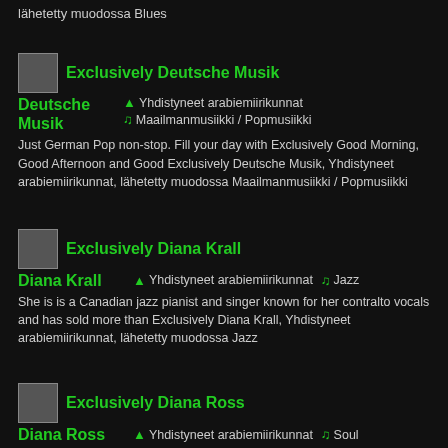lähetetty muodossa Blues
Exclusively Deutsche Musik | Yhdistyneet arabiemiirikunnat | Maailmanmusiikki / Popmusiikki | Just German Pop non-stop. Fill your day with Exclusively Good Morning, Good Afternoon and Good Exclusively Deutsche Musik, Yhdistyneet arabiemiirikunnat, lähetetty muodossa Maailmanmusiikki / Popmusiikki
Exclusively Diana Krall | Yhdistyneet arabiemiirikunnat | Jazz | She is is a Canadian jazz pianist and singer known for her contralto vocals and has sold more than Exclusively Diana Krall, Yhdistyneet arabiemiirikunnat, lähetetty muodossa Jazz
Exclusively Diana Ross | Yhdistyneet arabiemiirikunnat | Soul